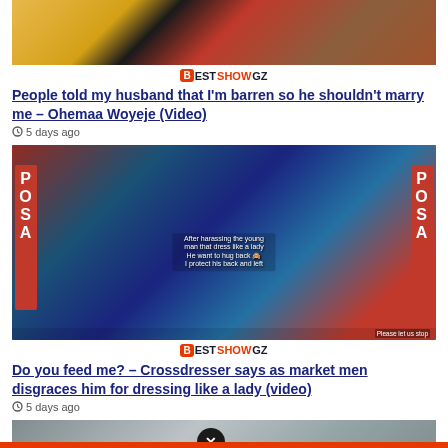[Figure (photo): Partial top image showing people in colorful clothing, cropped at the top of the page]
[Figure (logo): BestShowGz site logo with orange icon]
People told my husband that I'm barren so he shouldn't marry me – Ohemaa Woyeje (Video)
5 days ago
[Figure (photo): Street scene showing a crossdresser in blue outfit confronted by market men, with POSA signage visible]
[Figure (logo): BestShowGz site logo with orange icon]
Do you feed me? – Crossdresser says as market men disgraces him for dressing like a lady (video)
5 days ago
[Figure (photo): Bottom partial image showing people, partially cropped, with a close/x button overlay]